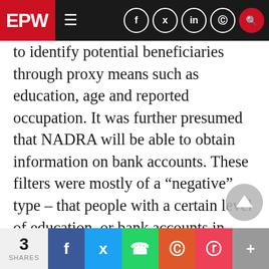EPW [navigation bar with hamburger menu and social icons]
to identify potential beneficiaries through proxy means such as education, age and reported occupation. It was further presumed that NADRA will be able to obtain information on bank accounts. These filters were mostly of a “negative” type – that people with a certain level of education, or bank accounts in foreign banks, were to be excluded from the beneficiaries. In some cases it might have been possible to make possible identification based on information provided by individuals to NADRA at the time of registration. It was considered, for example, that people who had reported their occupation as “labour” sho
3 SHARES | Facebook | Twitter | WhatsApp | Reddit | Pocket | +